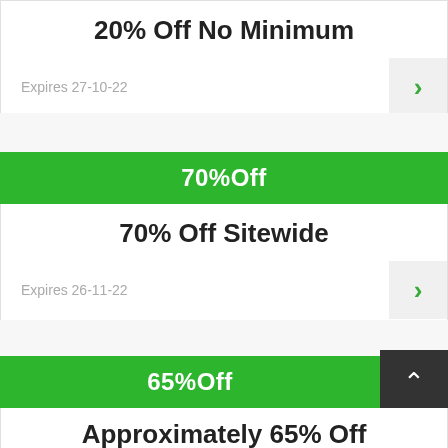20% Off No Minimum
Expires 27-10-22
70%Off
70% Off Sitewide
Expires 26-11-22
65%Off
Approximately 65% Off Bathroom Storage